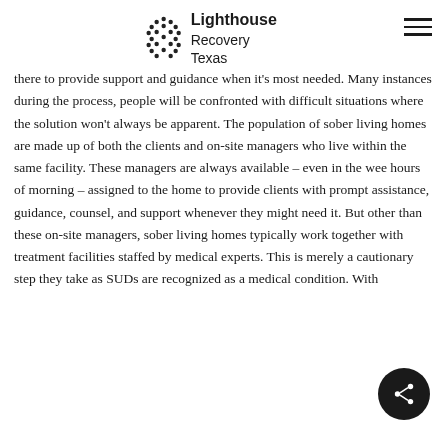[Figure (logo): Lighthouse Recovery Texas logo with dotted circular emblem and text]
there to provide support and guidance when it's most needed. Many instances during the process, people will be confronted with difficult situations where the solution won't always be apparent. The population of sober living homes are made up of both the clients and on-site managers who live within the same facility. These managers are always available – even in the wee hours of morning – assigned to the home to provide clients with prompt assistance, guidance, counsel, and support whenever they might need it. But other than these on-site managers, sober living homes typically work together with treatment facilities staffed by medical experts. This is merely a cautionary step they take as SUDs are recognized as a medical condition. With